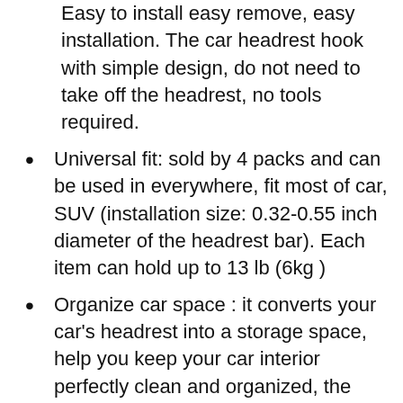Easy to install easy remove, easy installation. The car headrest hook with simple design, do not need to take off the headrest, no tools required.
Universal fit: sold by 4 packs and can be used in everywhere, fit most of car, SUV (installation size: 0.32-0.55 inch diameter of the headrest bar). Each item can hold up to 13 lb (6kg )
Organize car space : it converts your car’s headrest into a storage space, help you keep your car interior perfectly clean and organized, the headrest hook can hang groceries, handbags, purses, schoolbags, umbrellas, water